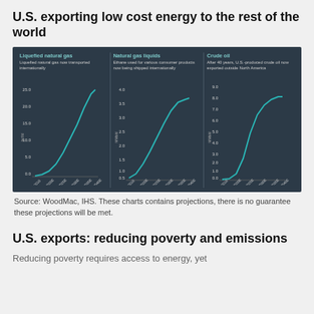U.S. exporting low cost energy to the rest of the world
[Figure (line-chart): Three line charts side by side on dark background: LNG exports (bcf/d), Natural gas liquids (MMb/d), Crude oil (MMb/d), all showing rapid growth from 2018 to 2040E projections]
Source: WoodMac, IHS. These charts contains projections, there is no guarantee these projections will be met.
U.S. exports: reducing poverty and emissions
Reducing poverty requires access to energy, yet